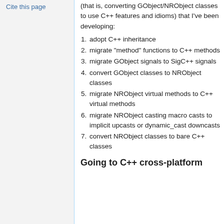Cite this page
(that is, converting GObject/NRObject classes to use C++ features and idioms) that I've been developing:
1. adopt C++ inheritance
2. migrate "method" functions to C++ methods
3. migrate GObject signals to SigC++ signals
4. convert GObject classes to NRObject classes
5. migrate NRObject virtual methods to C++ virtual methods
6. migrate NRObject casting macro casts to implicit upcasts or dynamic_cast downcasts
7. convert NRObject classes to bare C++ classes
Going to C++ cross-platform